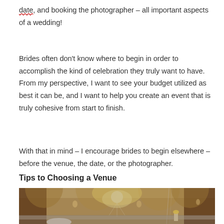date, and booking the photographer – all important aspects of a wedding!
Brides often don't know where to begin in order to accomplish the kind of celebration they truly want to have. From my perspective, I want to see your budget utilized as best it can be, and I want to help you create an event that is truly cohesive from start to finish.
With that in mind – I encourage brides to begin elsewhere – before the venue, the date, or the photographer.
Tips to Choosing a Venue
[Figure (photo): Interior of an elegant ballroom with crystal chandelier, ornate arched windows with dark drapes, crystal-lined balustrade, and floral arrangements]